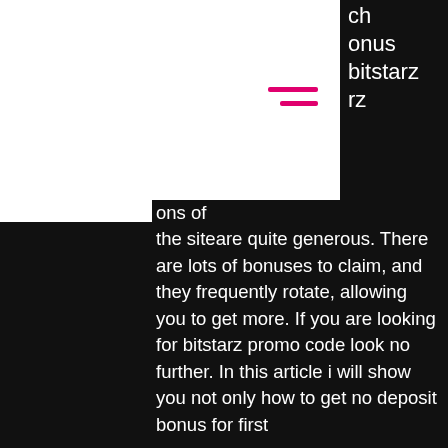ch bonus bitstarz rz
ons of the siteare quite generous. There are lots of bonuses to claim, and they frequently rotate, allowing you to get more. If you are looking for bitstarz promo code look no further. In this article i will show you not only how to get no deposit bonus for first
However, the 2006 the Unlawful Internet Gambling Enforcement Act (UIGEA) made clear that banking by electronic means is illegal. With that said, it's safe to assume cryptocurrencies in not currently a legal means of funding online gambling accounts, bitstarz casino bonus senza deposito codes 2022. Quick Info on Sportsbet. Beaujon Z/N Landhuis Joonchi II Curacao), best bonus codes for bitstarz. For example Bonus Codes can be found when browsing our